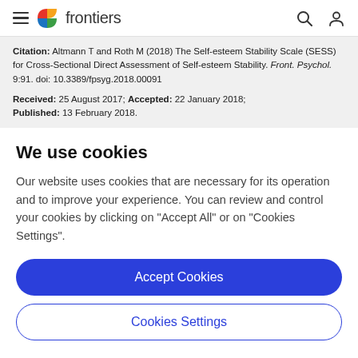frontiers
Citation: Altmann T and Roth M (2018) The Self-esteem Stability Scale (SESS) for Cross-Sectional Direct Assessment of Self-esteem Stability. Front. Psychol. 9:91. doi: 10.3389/fpsyg.2018.00091
Received: 25 August 2017; Accepted: 22 January 2018; Published: 13 February 2018.
We use cookies
Our website uses cookies that are necessary for its operation and to improve your experience. You can review and control your cookies by clicking on "Accept All" or on "Cookies Settings".
Accept Cookies
Cookies Settings